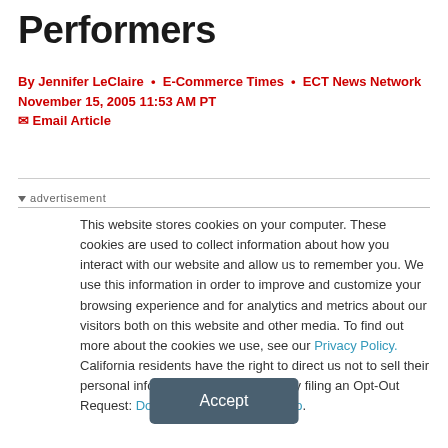Performers
By Jennifer LeClaire • E-Commerce Times • ECT News Network
November 15, 2005 11:53 AM PT
✉ Email Article
▼ advertisement
This website stores cookies on your computer. These cookies are used to collect information about how you interact with our website and allow us to remember you. We use this information in order to improve and customize your browsing experience and for analytics and metrics about our visitors both on this website and other media. To find out more about the cookies we use, see our Privacy Policy. California residents have the right to direct us not to sell their personal information to third parties by filing an Opt-Out Request: Do Not Sell My Personal Info.
Accept